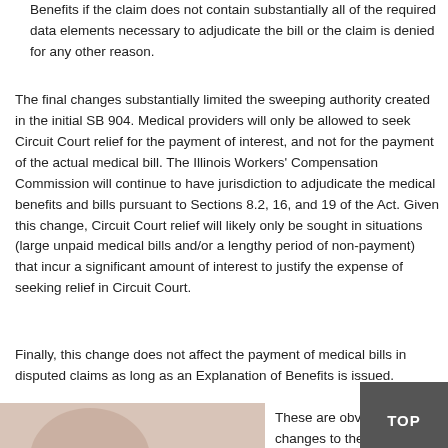Benefits if the claim does not contain substantially all of the required data elements necessary to adjudicate the bill or the claim is denied for any other reason.
The final changes substantially limited the sweeping authority created in the initial SB 904. Medical providers will only be allowed to seek Circuit Court relief for the payment of interest, and not for the payment of the actual medical bill. The Illinois Workers' Compensation Commission will continue to have jurisdiction to adjudicate the medical benefits and bills pursuant to Sections 8.2, 16, and 19 of the Act. Given this change, Circuit Court relief will likely only be sought in situations (large unpaid medical bills and/or a lengthy period of non-payment) that incur a significant amount of interest to justify the expense of seeking relief in Circuit Court.
Finally, this change does not affect the payment of medical bills in disputed claims as long as an Explanation of Benefits is issued.
[Figure (photo): Partial image of a person visible at bottom left of the page]
These are obviously major changes to the Act. If you have